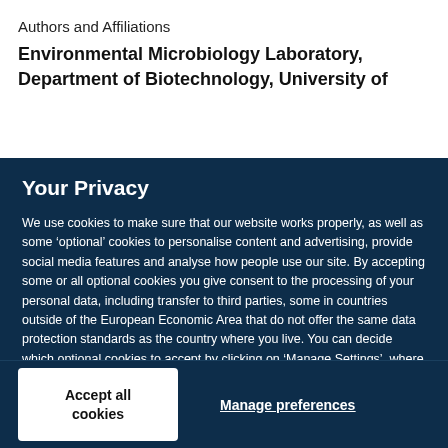Authors and Affiliations
Environmental Microbiology Laboratory,
Department of Biotechnology, University of
Your Privacy
We use cookies to make sure that our website works properly, as well as some ‘optional’ cookies to personalise content and advertising, provide social media features and analyse how people use our site. By accepting some or all optional cookies you give consent to the processing of your personal data, including transfer to third parties, some in countries outside of the European Economic Area that do not offer the same data protection standards as the country where you live. You can decide which optional cookies to accept by clicking on ‘Manage Settings’, where you can also find more information about how your personal data is processed. Further information can be found in our privacy policy.
Accept all cookies
Manage preferences